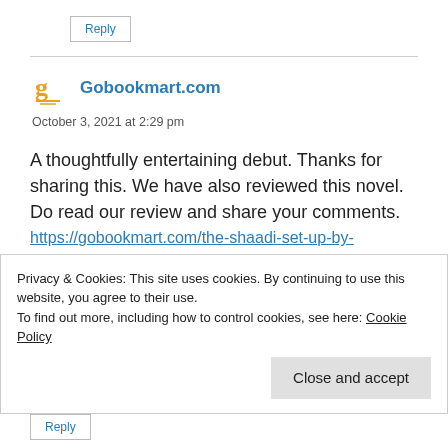Reply
Gobookmart.com
October 3, 2021 at 2:29 pm
A thoughtfully entertaining debut. Thanks for sharing this. We have also reviewed this novel. Do read our review and share your comments.
https://gobookmart.com/the-shaadi-set-up-by-
Privacy & Cookies: This site uses cookies. By continuing to use this website, you agree to their use.
To find out more, including how to control cookies, see here: Cookie Policy
Close and accept
Reply